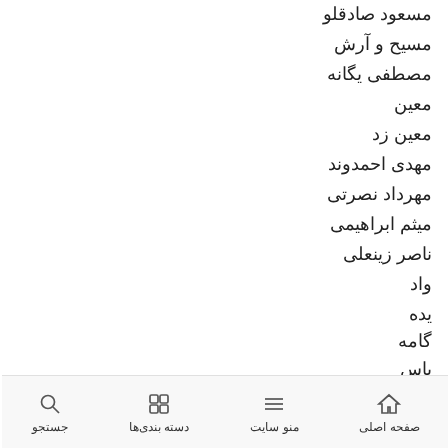مسعود صادقلو
مسیح و آرش
مصطفی یگانه
معین
معین زد
مهدی احمدوند
مهرداد نصرتی
میثم ابراهیمی
ناصر زینعلی
واد
یده
گامه
یاس
یوسف زمانی
بستن
آموزش برنامه نویسی به کودکان ۹تا ۱۷ سال| ثبتنام رایگان رو از دست نده
ثبت نام رایگان
جستجو | دسته بندی‌ها | منو سایت | صفحه اصلی